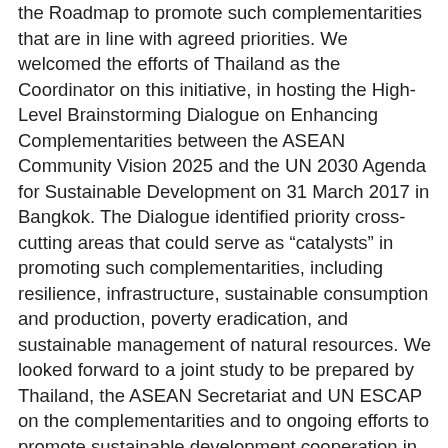the Roadmap to promote such complementarities that are in line with agreed priorities. We welcomed the efforts of Thailand as the Coordinator on this initiative, in hosting the High-Level Brainstorming Dialogue on Enhancing Complementarities between the ASEAN Community Vision 2025 and the UN 2030 Agenda for Sustainable Development on 31 March 2017 in Bangkok. The Dialogue identified priority cross-cutting areas that could serve as "catalysts" in promoting such complementarities, including resilience, infrastructure, sustainable consumption and production, poverty eradication, and sustainable management of natural resources. We looked forward to a joint study to be prepared by Thailand, the ASEAN Secretariat and UN ESCAP on the complementarities and to ongoing efforts to promote sustainable development cooperation in ASEAN. We took note of the Progress Report on this matter by Thailand and agreed to fast-track a number of project proposals in partnership with UN ESCAP, UNDP, UN Women and the World Bank. We noted the plan to organize the ASEAN-China UNDP Symposium on Financing for SDGs Implementation in August 2017 and the ASEAN-EU Dialogue on Sustainable Development on November 2017 in Thailand. Parti...